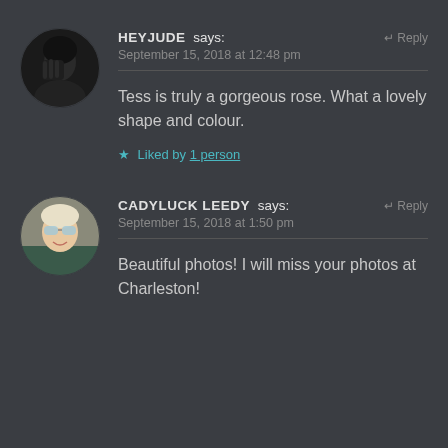[Figure (photo): Round avatar photo of a person in black and white, covering part of their face]
HEYJUDE says: September 15, 2018 at 12:48 pm
Tess is truly a gorgeous rose. What a lovely shape and colour.
Liked by 1 person
[Figure (photo): Round avatar photo of a blonde woman wearing reflective sunglasses, smiling]
CADYLUCK LEEDY says: September 15, 2018 at 1:50 pm
Beautiful photos! I will miss your photos at Charleston!